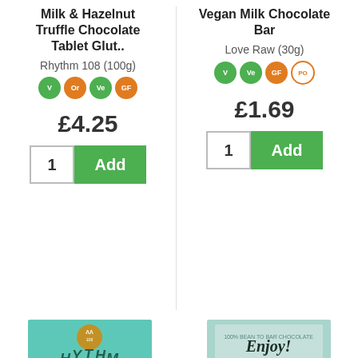Milk & Hazelnut Truffle Chocolate Tablet Glut..
Rhythm 108 (100g)
V Or Ve GF
£4.25
1  Add
Vegan Milk Chocolate Bar
Love Raw (30g)
V Ve GF PO
£1.69
1  Add
[Figure (photo): Rhythm 108 Vegan Mint Fondant chocolate bar product image]
[Figure (photo): Enjoy! Natural Mint 70% chocolate bar product image]